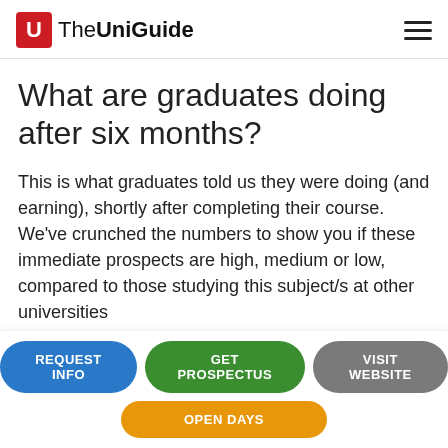The UniGuide
What are graduates doing after six months?
This is what graduates told us they were doing (and earning), shortly after completing their course. We've crunched the numbers to show you if these immediate prospects are high, medium or low, compared to those studying this subject/s at other universities
REQUEST INFO
GET PROSPECTUS
VISIT WEBSITE
OPEN DAYS